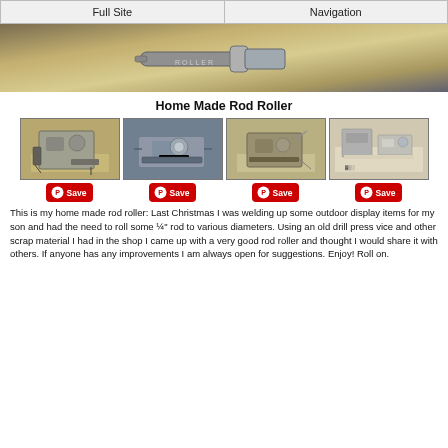Full Site | Navigation
[Figure (photo): Close-up photo of a metal rod roller tool on a workbench surface]
Home Made Rod Roller
[Figure (photo): Four thumbnail photos of a homemade rod roller device from different angles]
This is my home made rod roller: Last Christmas I was welding up some outdoor display items for my son and had the need to roll some ¼" rod to various diameters. Using an old drill press vice and other scrap material I had in the shop I came up with a very good rod roller and thought I would share it with others. If anyone has any improvements I am always open for suggestions. Enjoy! Roll on.